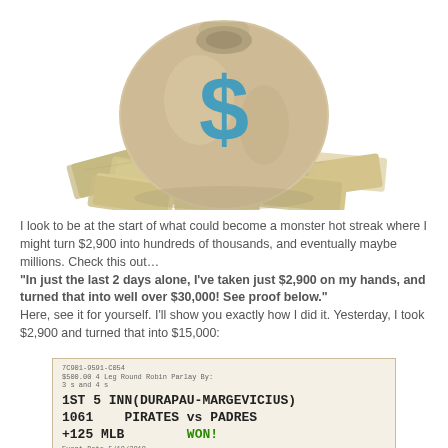[Figure (photo): Photo of a burlap money bag with a blue dollar sign on it, surrounded by scattered US dollar bills on a white background]
I look to be at the start of what could become a monster hot streak where I might turn $2,900 into hundreds of thousands, and eventually maybe millions. Check this out… "In just the last 2 days alone, I've taken just $2,900 on my hands, and turned that into well over $30,000! See proof below." Here, see it for yourself. I'll show you exactly how I did it. Yesterday, I took $2,900 and turned that into $15,000:
[Figure (photo): Sports betting ticket showing: 7C901-9591-C054, $500.00 4 Leg Round Robin Parlay By: 3s and 4s, 1ST 5 INN(DURAPAU-MARGEVICIUS), 1061 PIRATES vs PADRES, +125 MLB WON!, Event Date 5/18/2019]